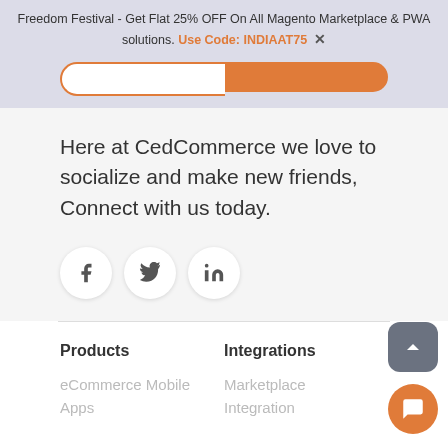Freedom Festival - Get Flat 25% OFF On All Magento Marketplace & PWA solutions. Use Code: INDIAAT75 ✕
[Figure (other): Two buttons: an outlined button and an orange filled button side by side]
Here at CedCommerce we love to socialize and make new friends, Connect with us today.
[Figure (infographic): Three social media icons: Facebook (f), Twitter (bird), LinkedIn (in) in circular white buttons]
Products
Integrations
eCommerce Mobile Apps
Marketplace Integration